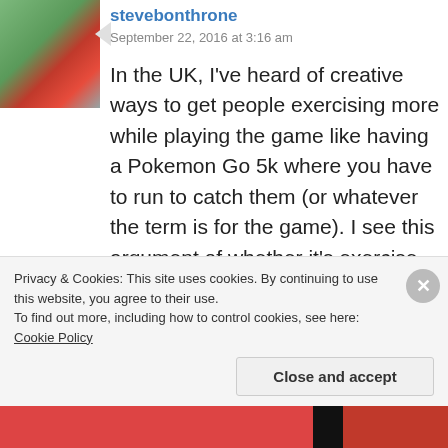[Figure (photo): Avatar/profile photo of user stevebonthrone, showing a person in athletic/running gear]
stevebonthrone
September 22, 2016 at 3:16 am
In the UK, I've heard of creative ways to get people exercising more while playing the game like having a Pokemon Go 5k where you have to run to catch them (or whatever the term is for the game). I see this argument of whether it's exercise or not in the same way as people walking their dog. When people used to tell me they exercised daily by walking their dog, I visualised them
Privacy & Cookies: This site uses cookies. By continuing to use this website, you agree to their use.
To find out more, including how to control cookies, see here: Cookie Policy
Close and accept